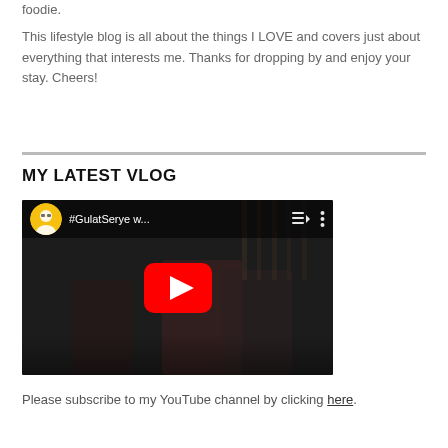foodie.
This lifestyle blog is all about the things I LOVE and covers just about everything that interests me. Thanks for dropping by and enjoy your stay. Cheers!
MY LATEST VLOG
[Figure (screenshot): Embedded YouTube video player showing a playlist titled '#GulatSerye w...' with a red play button in the center, dark background scene with people, and YouTube UI controls including playlist and options icons.]
Please subscribe to my YouTube channel by clicking here.